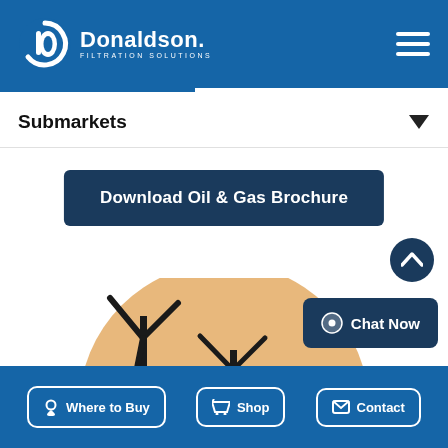[Figure (logo): Donaldson Filtration Solutions logo — white 'd' swirl icon and Donaldson wordmark with FILTRATION SOLUTIONS subtitle on blue header background]
Submarkets
Download Oil & Gas Brochure
[Figure (photo): Wind turbines silhouetted against a warm golden sunset circular background]
Chat Now
Where to Buy
Shop
Contact